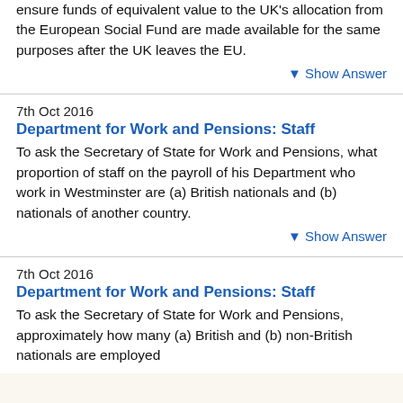ensure funds of equivalent value to the UK's allocation from the European Social Fund are made available for the same purposes after the UK leaves the EU.
▾ Show Answer
7th Oct 2016
Department for Work and Pensions: Staff
To ask the Secretary of State for Work and Pensions, what proportion of staff on the payroll of his Department who work in Westminster are (a) British nationals and (b) nationals of another country.
▾ Show Answer
7th Oct 2016
Department for Work and Pensions: Staff
To ask the Secretary of State for Work and Pensions, approximately how many (a) British and (b) non-British nationals are employed